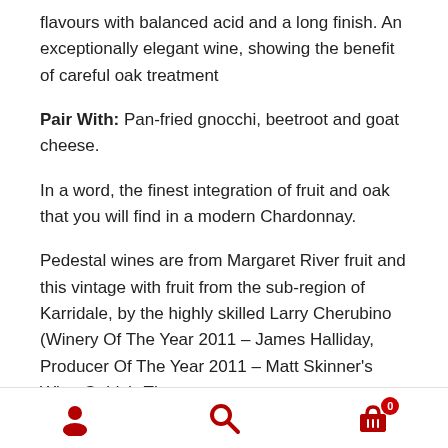flavours with balanced acid and a long finish. An exceptionally elegant wine, showing the benefit of careful oak treatment
Pair With: Pan-fried gnocchi, beetroot and goat cheese.
In a word, the finest integration of fruit and oak that you will find in a modern Chardonnay.
Pedestal wines are from Margaret River fruit and this vintage with fruit from the sub-region of Karridale, by the highly skilled Larry Cherubino (Winery Of The Year 2011 – James Halliday, Producer Of The Year 2011 – Matt Skinner's Wine Guide). The
Navigation bar with user, search, and cart icons